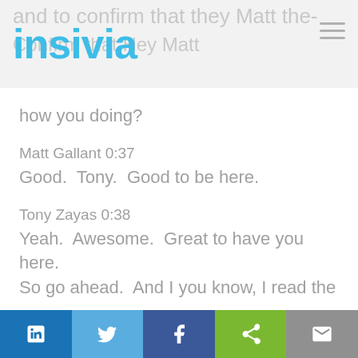insivia
how you doing?
Matt Gallant 0:37
Good. Tony. Good to be here.
Tony Zayas 0:38
Yeah. Awesome. Great to have you here. So go ahead. And I you know, I read the
LinkedIn | Twitter | Facebook | Share | Email